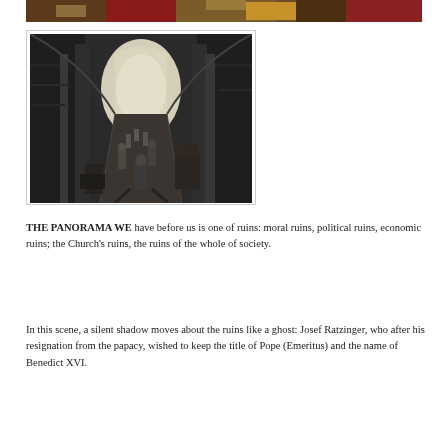[Figure (photo): Cropped color photo at top showing a crowd scene with red and gold colors, partially visible]
[Figure (photo): Black and white photograph of a church interior nave with high vaulted arches, stone columns, and several figures in religious vestments walking along the central aisle, with bright light coming from the far end]
THE PANORAMA WE have before us is one of ruins: moral ruins, political ruins, economic ruins; the Church's ruins, the ruins of the whole of society.
In this scene, a silent shadow moves about the ruins like a ghost: Josef Ratzinger, who after his resignation from the papacy, wished to keep the title of Pope (Emeritus) and the name of Benedict XVI.